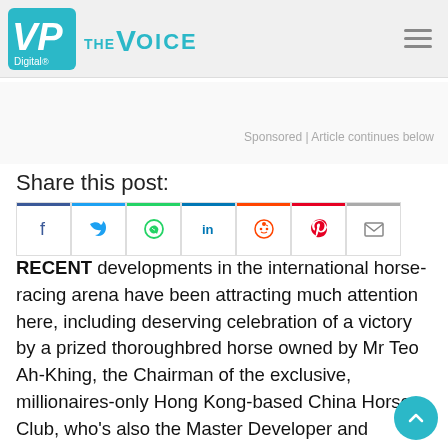VP Digital — THE VOICE
Sponsored | Article continues below
Share this post:
[Figure (other): Social share icons: Facebook, Twitter, WhatsApp, LinkedIn, Reddit, Pinterest, Email]
RECENT developments in the international horse-racing arena have been attracting much attention here, including deserving celebration of a victory by a prized thoroughbred horse owned by Mr Teo Ah-Khing, the Chairman of the exclusive, millionaires-only Hong Kong-based China Horse Club, who's also the Master Developer and Executive Chairm…